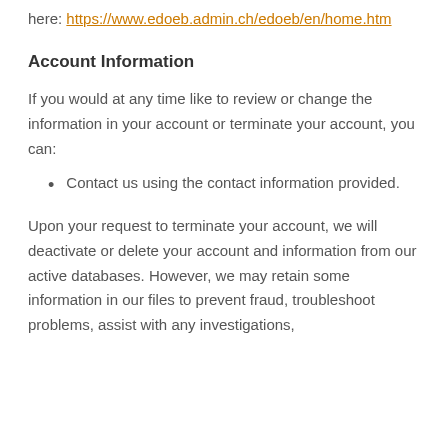here: https://www.edoeb.admin.ch/edoeb/en/home.htm
Account Information
If you would at any time like to review or change the information in your account or terminate your account, you can:
Contact us using the contact information provided.
Upon your request to terminate your account, we will deactivate or delete your account and information from our active databases. However, we may retain some information in our files to prevent fraud, troubleshoot problems, assist with any investigations,